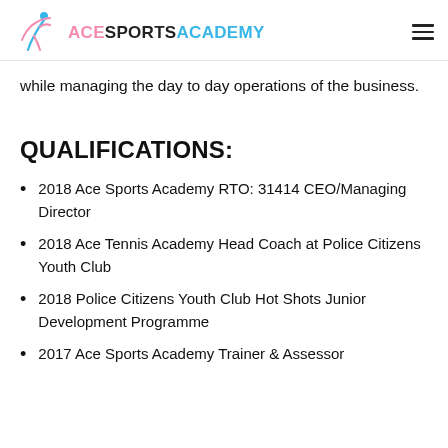ACE SPORTS ACADEMY
while managing the day to day operations of the business.
QUALIFICATIONS:
2018 Ace Sports Academy RTO: 31414 CEO/Managing Director
2018 Ace Tennis Academy Head Coach at Police Citizens Youth Club
2018 Police Citizens Youth Club Hot Shots Junior Development Programme
2017 Ace Sports Academy Trainer & Assessor